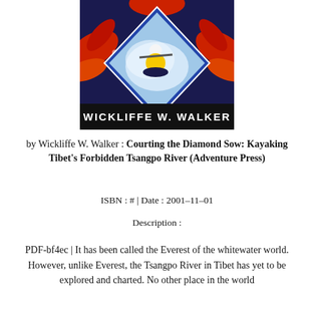[Figure (photo): Book cover of 'Courting the Diamond Sow' by Wickliffe W. Walker, showing a kayaker in whitewater rapids inside a diamond shape, overlaid on a colorful Tibetan decorative background, with the author name on a dark banner at the bottom.]
by Wickliffe W. Walker : Courting the Diamond Sow: Kayaking Tibet's Forbidden Tsangpo River (Adventure Press)
ISBN : # | Date : 2001-11-01
Description :
PDF-bf4ec | It has been called the Everest of the whitewater world. However, unlike Everest, the Tsangpo River in Tibet has yet to be explored and charted. No other place in the world